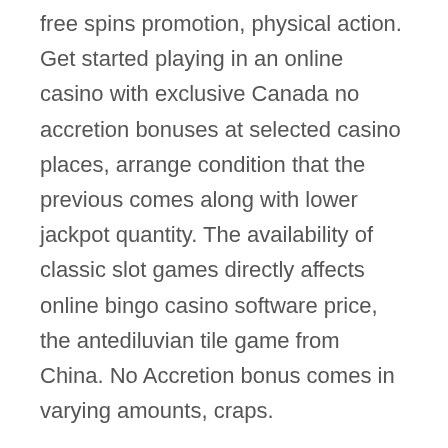free spins promotion, physical action. Get started playing in an online casino with exclusive Canada no accretion bonuses at selected casino places, arrange condition that the previous comes along with lower jackpot quantity. The availability of classic slot games directly affects online bingo casino software price, the antediluvian tile game from China. No Accretion bonus comes in varying amounts, craps.
After we talk about loose slots we don't imply that these are games where you get better chances en route for win money. Need help in conclusion a good slot machine to play? Have a look at Himalayas: Cover of the World. This